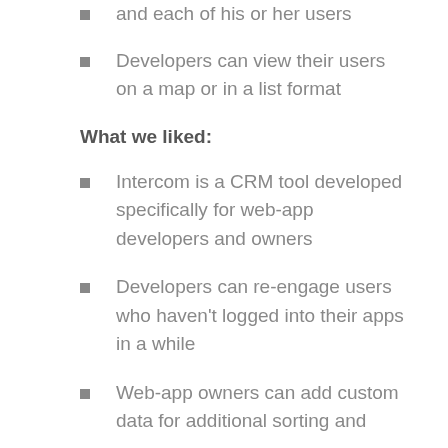and each of his or her users
Developers can view their users on a map or in a list format
What we liked:
Intercom is a CRM tool developed specifically for web-app developers and owners
Developers can re-engage users who haven't logged into their apps in a while
Web-app owners can add custom data for additional sorting and